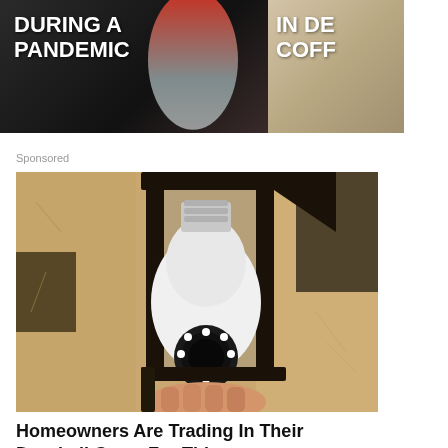[Figure (photo): Two thumbnail images side by side. Left: dark background with bold white text 'DURING A PANDEMIC' and a silhouette figure. Right: partially visible image with bold white text 'IN DE... COFF...' cut off at right edge.]
Sponsored
[Figure (photo): A security camera shaped like a light bulb being screwed into an outdoor lantern-style fixture mounted on a stucco wall. The camera has LED lights around the lens.]
Homeowners Are Trading In Their Doorbell Cams For This
Camerca
Learn More